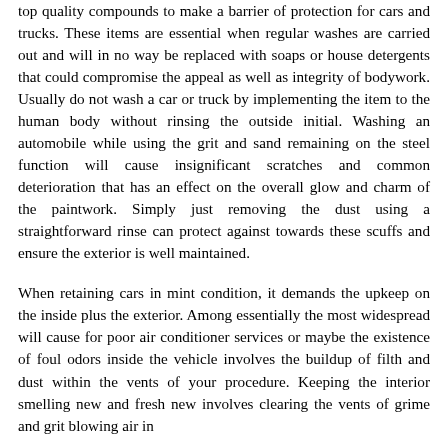top quality compounds to make a barrier of protection for cars and trucks. These items are essential when regular washes are carried out and will in no way be replaced with soaps or house detergents that could compromise the appeal as well as integrity of bodywork. Usually do not wash a car or truck by implementing the item to the human body without rinsing the outside initial. Washing an automobile while using the grit and sand remaining on the steel function will cause insignificant scratches and common deterioration that has an effect on the overall glow and charm of the paintwork. Simply just removing the dust using a straightforward rinse can protect against towards these scuffs and ensure the exterior is well maintained.
When retaining cars in mint condition, it demands the upkeep on the inside plus the exterior. Among essentially the most widespread will cause for poor air conditioner services or maybe the existence of foul odors inside the vehicle involves the buildup of filth and dust within the vents of your procedure. Keeping the interior smelling new and fresh new involves clearing the vents of grime and grit blowing air in